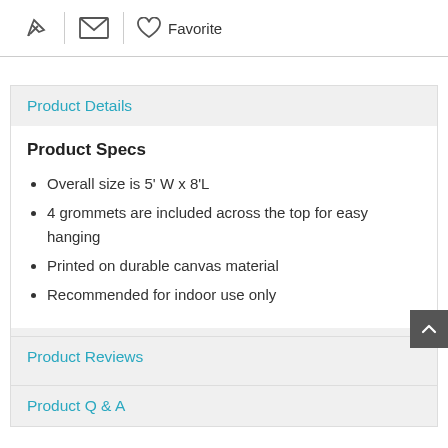[Figure (other): Toolbar with pin icon, mail icon, heart icon and Favorite label]
Product Details
Product Specs
Overall size is 5' W x 8'L
4 grommets are included across the top for easy hanging
Printed on durable canvas material
Recommended for indoor use only
Product Reviews
Product Q & A